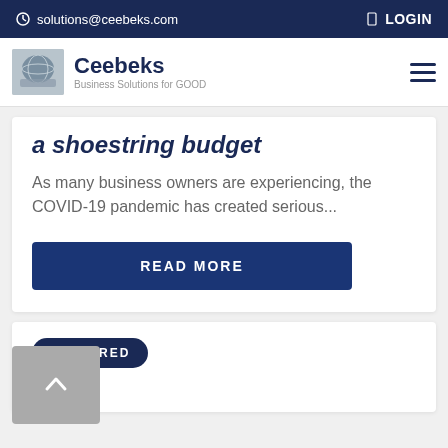solutions@ceebeks.com   LOGIN
[Figure (logo): Ceebeks logo with globe/hands image, brand name Ceebeks and tagline Business Solutions for GOOD, plus hamburger menu icon]
a shoestring budget
As many business owners are experiencing, the COVID-19 pandemic has created serious...
READ MORE
FEATURED